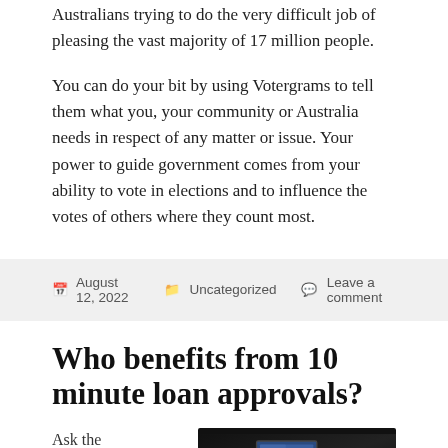Australians trying to do the very difficult job of pleasing the vast majority of 17 million people.
You can do your bit by using Votergrams to tell them what you, your community or Australia needs in respect of any matter or issue. Your power to guide government comes from your ability to vote in elections and to influence the votes of others where they count most.
August 12, 2022   Uncategorized   Leave a comment
Who benefits from 10 minute loan approvals?
Ask the bank
[Figure (photo): Photo of a laptop computer on a dark background]